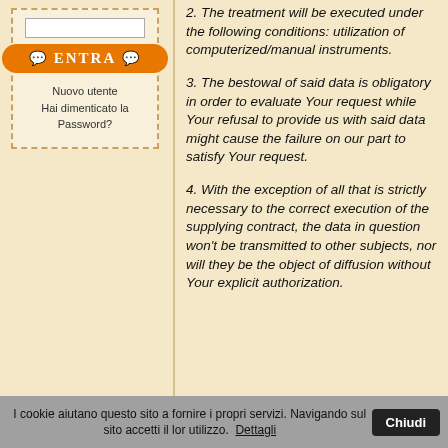[Figure (screenshot): Login box with password field, orange ENTRA button with chat icons, and links for Nuovo utente and Hai dimenticato la Password?]
2. The treatment will be executed under the following conditions: utilization of computerized/manual instruments.
3. The bestowal of said data is obligatory in order to evaluate Your request while Your refusal to provide us with said data might cause the failure on our part to satisfy Your request.
4. With the exception of all that is strictly necessary to the correct execution of the supplying contract, the data in question won't be transmitted to other subjects, nor will they be the object of diffusion without Your explicit authorization.
I cookie aiutano questo sito a fornire i propri servizi. Navigando sul sito accetti il loro utilizzo. Dettagli  Chiudi